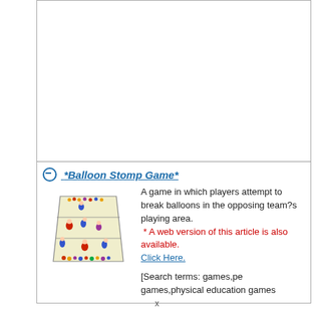[Figure (other): Empty white box area at top of page, bordered rectangle]
*Balloon Stomp Game*
[Figure (illustration): Illustration of a field/court with players stomping balloons, trapezoid shape with colorful figures]
A game in which players attempt to break balloons in the opposing team?s playing area. * A web version of this article is also available. Click Here.
[Search terms: games,pe games,physical education games